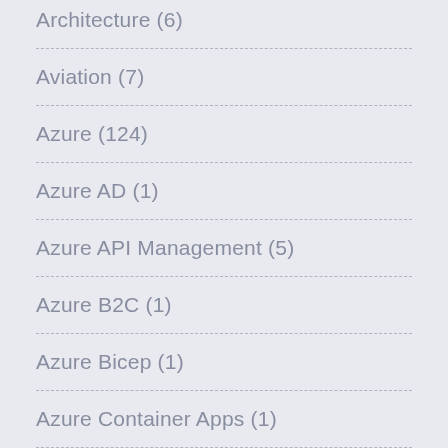Architecture (6)
Aviation (7)
Azure (124)
Azure AD (1)
Azure API Management (5)
Azure B2C (1)
Azure Bicep (1)
Azure Container Apps (1)
Azure Functions (2)
Azure Policy (1)